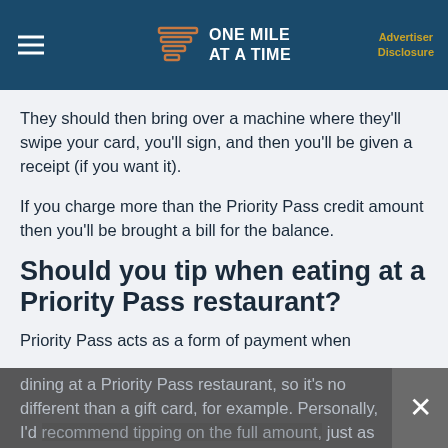ONE MILE AT A TIME | Advertiser Disclosure
They should then bring over a machine where they'll swipe your card, you'll sign, and then you'll be given a receipt (if you want it).
If you charge more than the Priority Pass credit amount then you'll be brought a bill for the balance.
Should you tip when eating at a Priority Pass restaurant?
Priority Pass acts as a form of payment when dining at a Priority Pass restaurant, so it's no different than a gift card, for example. Personally, I'd recommend tipping on the full amount, just as